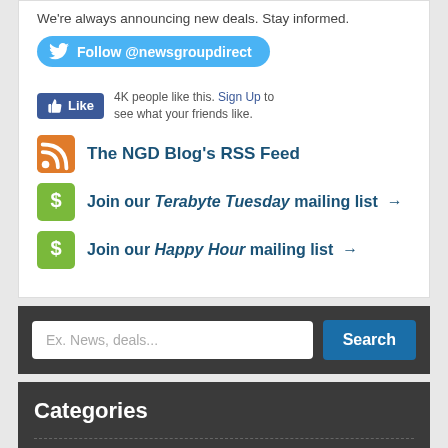We're always announcing new deals. Stay informed.
Follow @newsgroupdirect
4K people like this. Sign Up to see what your friends like.
The NGD Blog's RSS Feed
Join our Terabyte Tuesday mailing list →
Join our Happy Hour mailing list →
Ex. News, deals...
Search
Categories
Affiliates
Fun Stuff